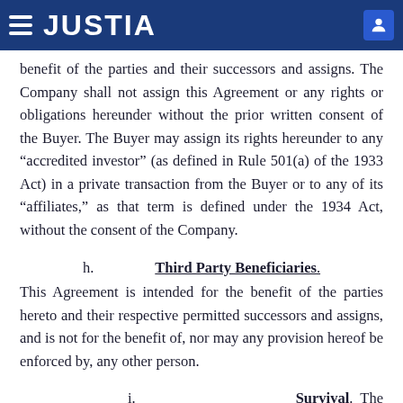JUSTIA
benefit of the parties and their successors and assigns. The Company shall not assign this Agreement or any rights or obligations hereunder without the prior written consent of the Buyer. The Buyer may assign its rights hereunder to any “accredited investor” (as defined in Rule 501(a) of the 1933 Act) in a private transaction from the Buyer or to any of its “affiliates,” as that term is defined under the 1934 Act, without the consent of the Company.
h.    Third Party Beneficiaries.
This Agreement is intended for the benefit of the parties hereto and their respective permitted successors and assigns, and is not for the benefit of, nor may any provision hereof be enforced by, any other person.
i.    Survival. The